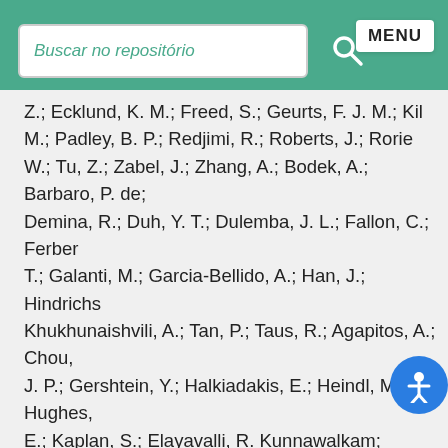Buscar no repositório   🔍   MENU
Z.; Ecklund, K. M.; Freed, S.; Geurts, F. J. M.; Kil... M.; Padley, B. P.; Redjimi, R.; Roberts, J.; Rorie W.; Tu, Z.; Zabel, J.; Zhang, A.; Bodek, A.; Barbaro, P. de; Demina, R.; Duh, Y. T.; Dulemba, J. L.; Fallon, C.; Ferber T.; Galanti, M.; Garcia-Bellido, A.; Han, J.; Hindrichs Khukhunaishvili, A.; Tan, P.; Taus, R.; Agapitos, A.; Chou, J. P.; Gershtein, Y.; Halkiadakis, E.; Heindl, M.; Hughes, E.; Kaplan, S.; Elayavalli, R. Kunnawalkam; Kyriacou, S.; Lath, A.; Montalvo, R.; Nash, K.; Osherson, M.; Saka, H.; Salur, S.; Schnetzer, S.; Sheffield, D.; Somalwar, S.; Stone, R.; Thomas, S.; Thomassen, P.; Walker, M.; Delannoy, A. G.; Heideman, J.; Riley, G.; Spanier, S.; Bouhali, O.; Celik, A.; Dalchenko, M.; De Mattia, M.; Delgado, A.; Dildick, S.; Eusebi, R.; Gilmore, J.; Huang, T.; Kamon, T.; Luo, S.; Mueller, R.; Overton, D.; Pernie, L.; Rathjens, D.; Safonov, A.; Akchurin, N.; Damgov, J.; De Guio, F.; Dudero, P. R.; Kunori, S.; Lamichhane, K.; Mengke, T.; Muthumuni, S.; Peltola, T.; Undleeb, S.; Volobouev, I.; Greene, S.; Gurrola, A.; Janjam, R.; Johns